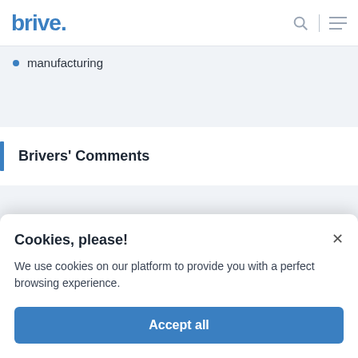brive.
manufacturing
Brivers' Comments
Cookies, please!
We use cookies on our platform to provide you with a perfect browsing experience.
Accept all